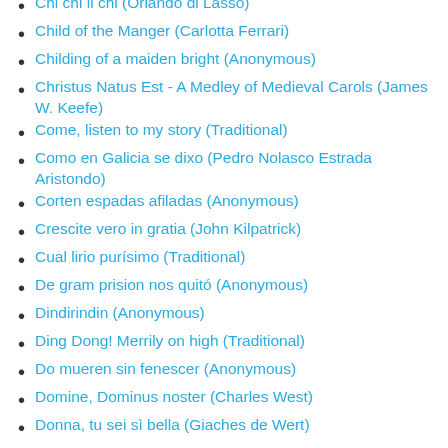Chi chi li chi (Orlando di Lasso)
Child of the Manger (Carlotta Ferrari)
Childing of a maiden bright (Anonymous)
Christus Natus Est - A Medley of Medieval Carols (James W. Keefe)
Come, listen to my story (Traditional)
Como en Galicia se dixo (Pedro Nolasco Estrada Aristondo)
Corten espadas afiladas (Anonymous)
Crescite vero in gratia (John Kilpatrick)
Cual lirio purísimo (Traditional)
De gram prision nos quitó (Anonymous)
Dindirindin (Anonymous)
Ding Dong! Merrily on high (Traditional)
Do mueren sin fenescer (Anonymous)
Domine, Dominus noster (Charles West)
Donna, tu sei sì bella (Giaches de Wert)